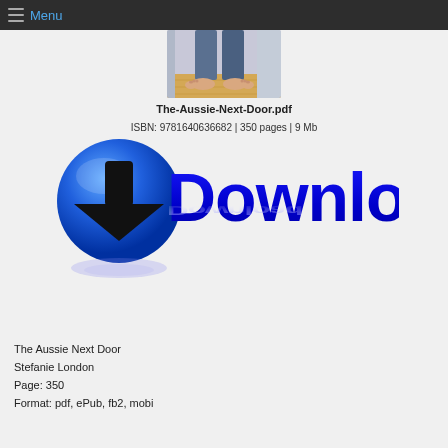Menu
[Figure (photo): Book cover photo showing bare feet on a wooden floor with a person sitting, partial view of legs in jeans]
The-Aussie-Next-Door.pdf
ISBN: 9781640636682 | 350 pages | 9 Mb
[Figure (illustration): Download button graphic: blue circular icon with black downward arrow and large blue bold 'Download' text with reflection effect]
The Aussie Next Door
Stefanie London
Page: 350
Format: pdf, ePub, fb2, mobi